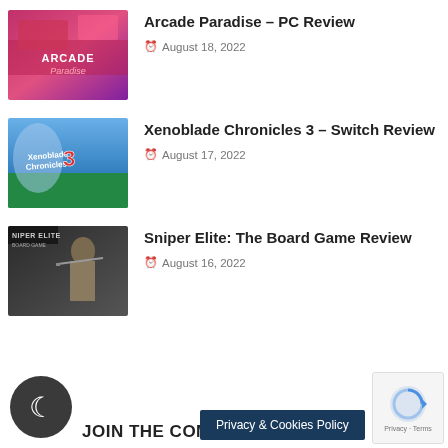[Figure (screenshot): Arcade Paradise game cover thumbnail - pink/red toned arcade scene]
Arcade Paradise – PC Review
August 18, 2022
[Figure (screenshot): Xenoblade Chronicles 3 game cover thumbnail - blue sky with mountains and characters]
Xenoblade Chronicles 3 – Switch Review
August 17, 2022
[Figure (screenshot): Sniper Elite: The Board Game cover thumbnail - soldier with rifle dark background]
Sniper Elite: The Board Game Review
August 16, 2022
JOIN THE COMM
Privacy & Cookies Policy